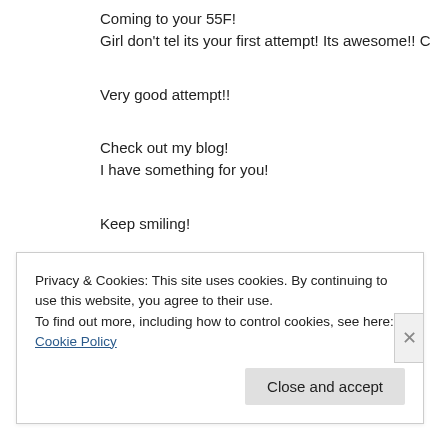Coming to your 55F!
Girl don't tel its your first attempt! Its awesome!! C
Very good attempt!!
Check out my blog!
I have something for you!
Keep smiling!
★ Like
Reply
Privacy & Cookies: This site uses cookies. By continuing to use this website, you agree to their use.
To find out more, including how to control cookies, see here: Cookie Policy
Close and accept